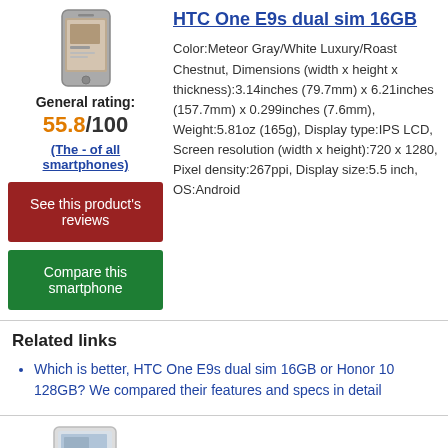[Figure (photo): HTC One E9s dual sim 16GB smartphone product image]
General rating:
55.8/100
(The - of all smartphones)
See this product's reviews
Compare this smartphone
HTC One E9s dual sim 16GB
Color:Meteor Gray/White Luxury/Roast Chestnut, Dimensions (width x height x thickness):3.14inches (79.7mm) x 6.21inches (157.7mm) x 0.299inches (7.6mm), Weight:5.81oz (165g), Display type:IPS LCD, Screen resolution (width x height):720 x 1280, Pixel density:267ppi, Display size:5.5 inch, OS:Android
Related links
Which is better, HTC One E9s dual sim 16GB or Honor 10 128GB? We compared their features and specs in detail
[Figure (photo): HTC Desire 626s 8GB smartphone product image]
HTC Desire 626s 8GB